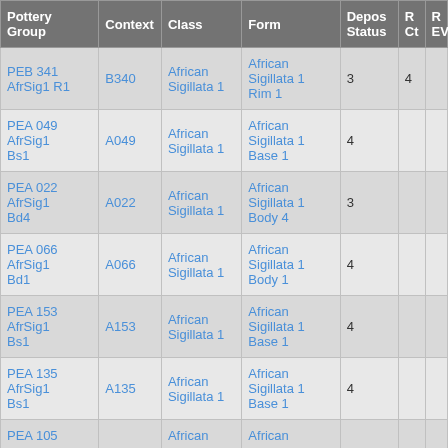| Pottery Group | Context | Class | Form | Depos Status | R Ct | R EVR |
| --- | --- | --- | --- | --- | --- | --- |
| PEB 341 AfrSig1 R1 | B340 | African Sigillata 1 | African Sigillata 1 Rim 1 | 3 | 4 |  |
| PEA 049 AfrSig1 Bs1 | A049 | African Sigillata 1 | African Sigillata 1 Base 1 | 4 |  |  |
| PEA 022 AfrSig1 Bd4 | A022 | African Sigillata 1 | African Sigillata 1 Body 4 | 3 |  |  |
| PEA 066 AfrSig1 Bd1 | A066 | African Sigillata 1 | African Sigillata 1 Body 1 | 4 |  |  |
| PEA 153 AfrSig1 Bs1 | A153 | African Sigillata 1 | African Sigillata 1 Base 1 | 4 |  |  |
| PEA 135 AfrSig1 Bs1 | A135 | African Sigillata 1 | African Sigillata 1 Base 1 | 4 |  |  |
| PEA 105 |  | African | African |  |  |  |